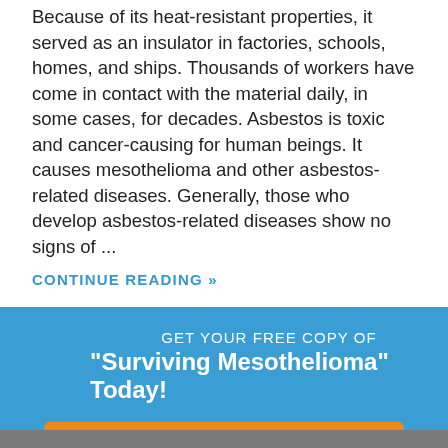Because of its heat-resistant properties, it served as an insulator in factories, schools, homes, and ships. Thousands of workers have come in contact with the material daily, in some cases, for decades. Asbestos is toxic and cancer-causing for human beings. It causes mesothelioma and other asbestos-related diseases. Generally, those who develop asbestos-related diseases show no signs of ...
CONTINUE READING »
GET YOUR FREE COPY OF
"Surviving Mesothelioma" Today!
GET YOUR FREE COPY ❯